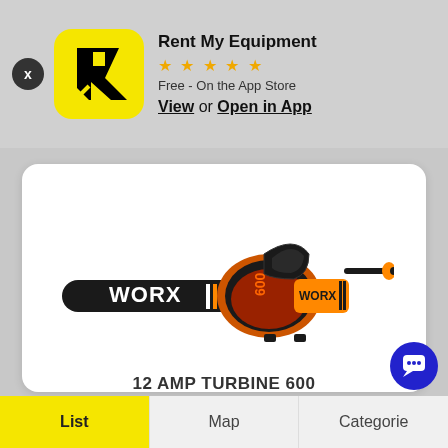[Figure (screenshot): App banner for Rent My Equipment showing app icon, star rating, store info, and View/Open in App links]
Rent My Equipment
Free - On the App Store
View or Open in App
[Figure (photo): WORX 12 AMP TURBINE 600 leaf blower product image on white background]
12 AMP TURBINE 600
List    Map    Categories